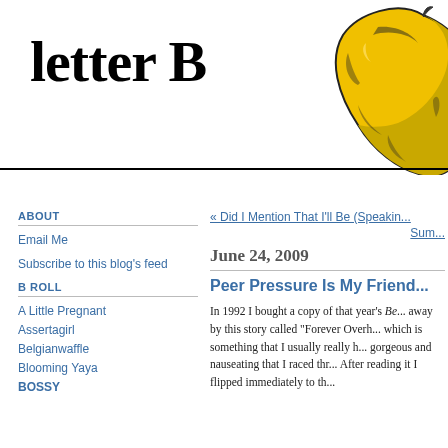letter B
[Figure (illustration): Pop-art style yellow and black banana illustration in upper right area of the page header]
ABOUT
Email Me
Subscribe to this blog's feed
B ROLL
A Little Pregnant
Assertagirl
Belgianwaffle
Blooming Yaya
BOSSY
« Did I Mention That I'll Be (Speakin...
Sum...
June 24, 2009
Peer Pressure Is My Friend...
In 1992 I bought a copy of that year's Be... away by this story called "Forever Overh... which is something that I usually really h... gorgeous and nauseating that I raced thr... After reading it I flipped immediately to th...